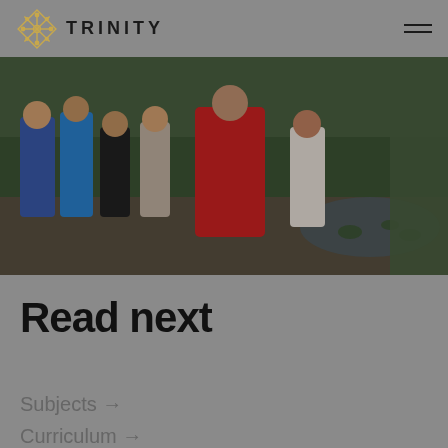TRINITY
[Figure (photo): Group of students standing on a wooden bridge or deck in front of a garden with lily pads and lush green vegetation. Several students wearing blue, black, red and casual clothing. One student in a red hoodie is prominent in the foreground.]
Read next
Subjects →
Curriculum →